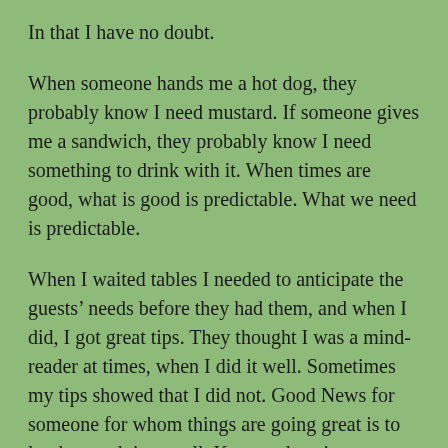In that I have no doubt.
When someone hands me a hot dog, they probably know I need mustard. If someone gives me a sandwich, they probably know I need something to drink with it. When times are good, what is good is predictable. What we need is predictable.
When I waited tables I needed to anticipate the guests’ needs before they had them, and when I did, I got great tips. They thought I was a mind-reader at times, when I did it well. Sometimes my tips showed that I did not. Good News for someone for whom things are going great is to let the good times roll. Keep on keeping on.
But today we are given some images of when times are dark, when things are going badly, and where is the Good News then? When we are in the middle of the storms of life, too often we have no idea which direction to head. We